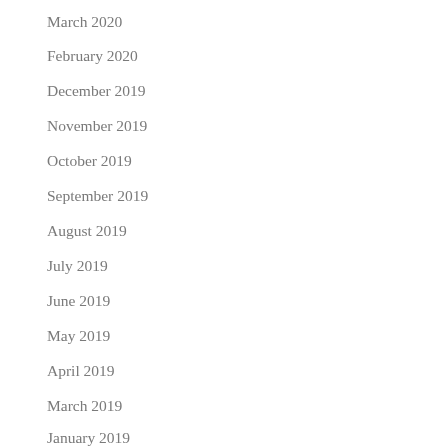March 2020
February 2020
December 2019
November 2019
October 2019
September 2019
August 2019
July 2019
June 2019
May 2019
April 2019
March 2019
January 2019